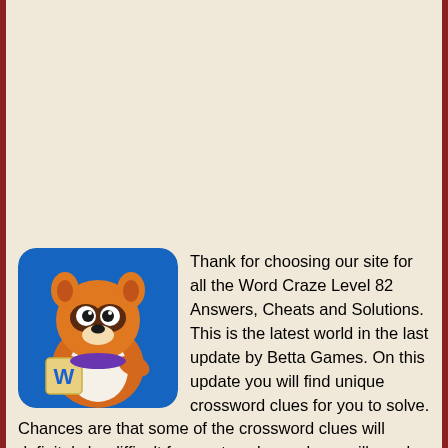[Figure (illustration): Word Craze game app icon showing a cartoon fox/raccoon character holding a letter W tile on a blue background]
Thank for choosing our site for all the Word Craze Level 82 Answers, Cheats and Solutions. This is the latest world in the last update by Betta Games. On this update you will find unique crossword clues for you to solve. Chances are that some of the crossword clues will definitely be difficult for you to solve and you will need our help. This is the reason we have decided to share with you below all the Word Craze Level 82 Answers. Give your brain some exercise and solve your way through brilliant crosswords published every day! You will be redirected to the appropriate game level after you click any of the crossword